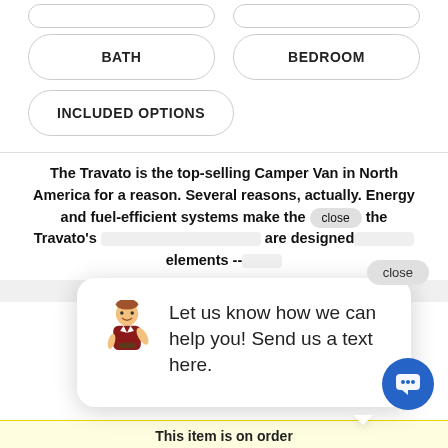BATH
BEDROOM
INCLUDED OPTIONS
The Travato is the top-selling Camper Van in North America for a reason. Several reasons, actually. Energy and fuel-efficient systems make the [close] the Travato's [obscured] are designed [obscured] elements -- [obscured]
[Figure (illustration): Chat popup with cartoon avatar of repairman character, text: Let us know how we can help you! Send us a text here. Close button visible.]
Let us know how we can help you! Send us a text here.
Great American RV - Grand Bay
12167 Interchange Dr
Grand Bay, AL, 36541
(844) 311-6772
[Figure (illustration): Blue circular chat FAB button with message icon]
This item is on order